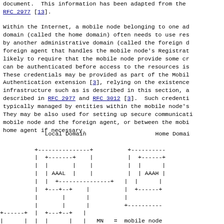document.  This information has been adapted from the RFC 2977 [13].
Within the Internet, a mobile node belonging to one administrative domain (called the home domain) often needs to use resources provided by another administrative domain (called the foreign domain).  The foreign agent that handles the mobile node's Registration request is likely to require that the mobile node provide some credentials that can be authenticated before access to the resources is granted. These credentials may be provided as part of the Mobile-IPv4 Authentication extension [3], relying on the existence of an AAA infrastructure such as is described in this section, and further described in RFC 2977 and RFC 3012 [3].  Such credentials are typically managed by entities within the mobile node's home domain. They may be also used for setting up secure communications between the mobile node and the foreign agent, or between the mobile node and the home agent if necessary.
[Figure (engineering-diagram): Network diagram showing Local Domain with AAAL box and FA box, Home Domain with AAAH box, and MN connected to FA. Legend: MN = mobile node, FA = foreign agent.]